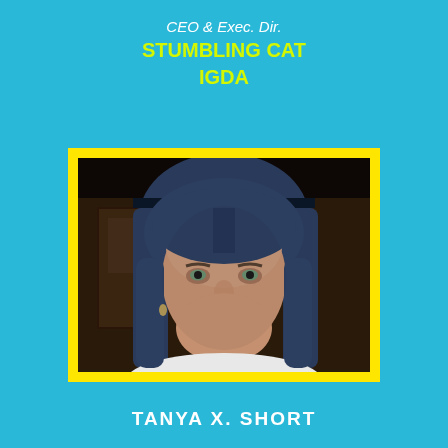CEO & Exec. Dir.
STUMBLING CAT
IGDA
[Figure (photo): Headshot photo of Tanya X. Short, a woman with long blue hair wearing a white top, framed with a thick yellow border, on a cyan/light blue background.]
TANYA X. SHORT